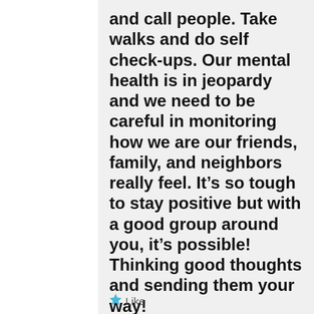and call people. Take walks and do self check-ups. Our mental health is in jeopardy and we need to be careful in monitoring how we are our friends, family, and neighbors really feel. It's so tough to stay positive but with a good group around you, it's possible! Thinking good thoughts and sending them your way!